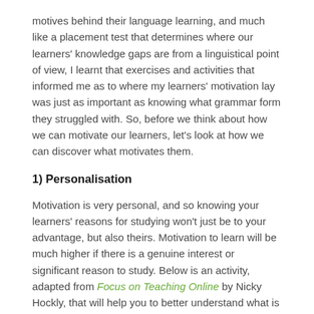motives behind their language learning, and much like a placement test that determines where our learners' knowledge gaps are from a linguistical point of view, I learnt that exercises and activities that informed me as to where my learners' motivation lay was just as important as knowing what grammar form they struggled with. So, before we think about how we can motivate our learners, let's look at how we can discover what motivates them.
1) Personalisation
Motivation is very personal, and so knowing your learners' reasons for studying won't just be to your advantage, but also theirs. Motivation to learn will be much higher if there is a genuine interest or significant reason to study. Below is an activity, adapted from Focus on Teaching Online by Nicky Hockly, that will help you to better understand what is meaningful to your learners.